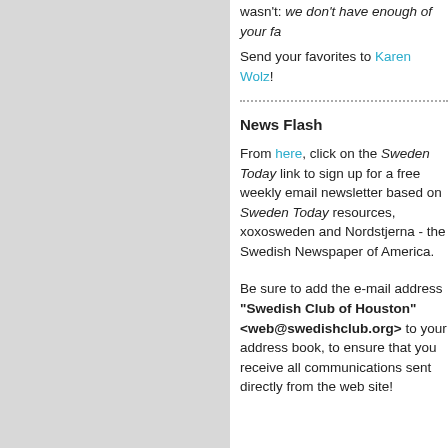wasn't: we don't have enough of your fa
Send your favorites to Karen Wolz!
News Flash
From here, click on the Sweden Today link to sign up for a free weekly email newsletter based on Sweden Today resources, xoxosweden and Nordstjerna - the Swedish Newspaper of America.
Be sure to add the e-mail address "Swedish Club of Houston" <web@swedishclub.org> to your address book, to ensure that you receive all communications sent directly from the web site!